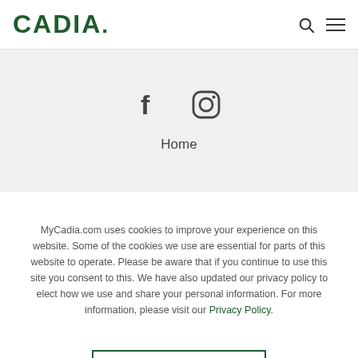CADIA.
[Figure (illustration): Social media icons: Facebook (f) and Instagram (camera) on gray background, with Home navigation link below]
MyCadia.com uses cookies to improve your experience on this website. Some of the cookies we use are essential for parts of this website to operate. Please be aware that if you continue to use this site you consent to this. We have also updated our privacy policy to elect how we use and share your personal information. For more information, please visit our Privacy Policy.
Accept